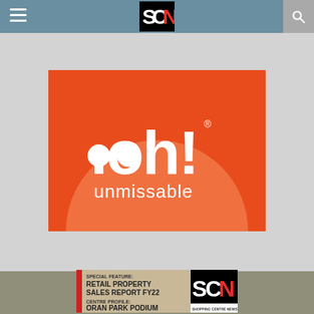SCN - Shopping Centre News
[Figure (logo): ooh! unmissable logo on orange background with lighter orange semicircle]
[Figure (photo): SCN Shopping Centre News magazine cover showing Special Feature: Retail Property Sales Report FY22, Centre Profile: Oran Park Podium]